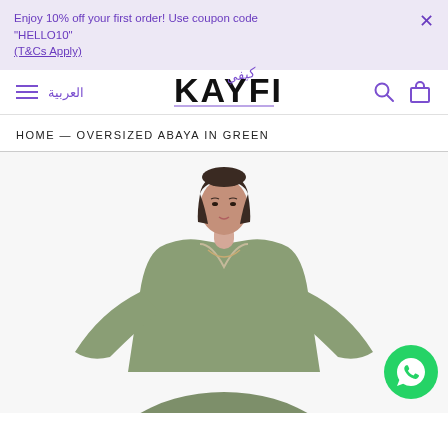Enjoy 10% off your first order! Use coupon code "HELLO10" (T&Cs Apply)
[Figure (logo): KAYFI brand logo with stylized script]
العربية
HOME — OVERSIZED ABAYA IN GREEN
[Figure (photo): Model wearing an oversized sage green abaya with V-neck]
[Figure (other): WhatsApp contact button (green circle with phone icon)]